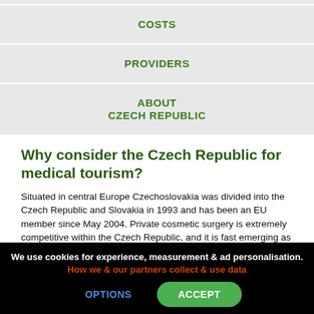COSTS
PROVIDERS
ABOUT
CZECH REPUBLIC
Why consider the Czech Republic for medical tourism?
Situated in central Europe Czechoslovakia was divided into the Czech Republic and Slovakia in 1993 and has been an EU member since May 2004. Private cosmetic surgery is extremely competitive within the Czech Republic, and it is fast emerging as a popular health tourism and dentistry destination.
Most of the clinics are located in the county's culturally rich capital, Prague
We use cookies for experience, measurement & ad personalisation. How we & our partners collect & use data
OPTIONS
ACCEPT